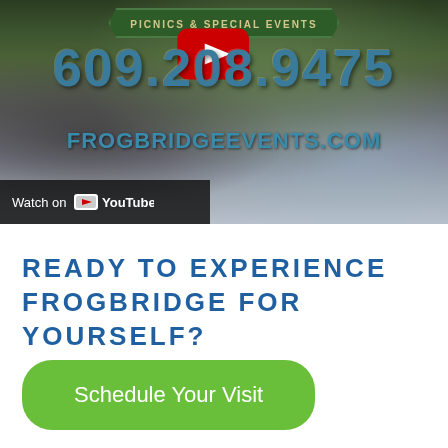[Figure (screenshot): YouTube video thumbnail showing Frogbridge Events promotional content with phone number 609.208.9475 and website FROGBRIDGEEVENTS.COM, with 'PICNICS & SPECIAL EVENTS' banner. A YouTube play button is visible. 'Watch on YouTube' bar at bottom left.]
READY TO EXPERIENCE FROGBRIDGE FOR YOURSELF?
Schedule Your Visit